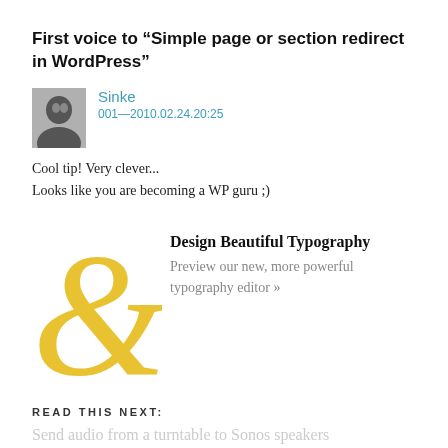First voice to “Simple page or section redirect in WordPress”
Sinke
001—2010.02.24.20:25
Cool tip! Very clever...
Looks like you are becoming a WP guru ;)
[Figure (illustration): Advertisement banner featuring a large decorative golden ampersand with text 'Design Beautiful Typography' and 'Preview our new, more powerful typography editor »']
READ THIS NEXT:
Send audio from a turntable to Sonos speakers